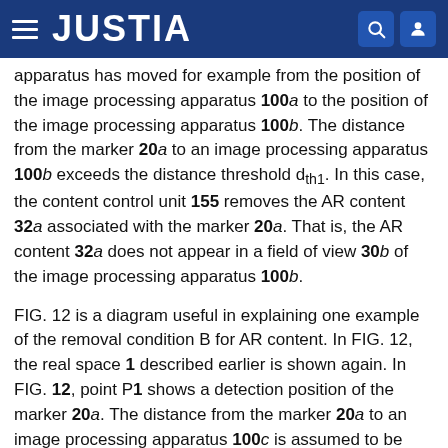JUSTIA
apparatus has moved for example from the position of the image processing apparatus 100a to the position of the image processing apparatus 100b. The distance from the marker 20a to an image processing apparatus 100b exceeds the distance threshold d_th1. In this case, the content control unit 155 removes the AR content 32a associated with the marker 20a. That is, the AR content 32a does not appear in a field of view 30b of the image processing apparatus 100b.
FIG. 12 is a diagram useful in explaining one example of the removal condition B for AR content. In FIG. 12, the real space 1 described earlier is shown again. In FIG. 12, point P1 shows a detection position of the marker 20a. The distance from the marker 20a to an image processing apparatus 100c is assumed to be shorter than the specified distance threshold. However, the